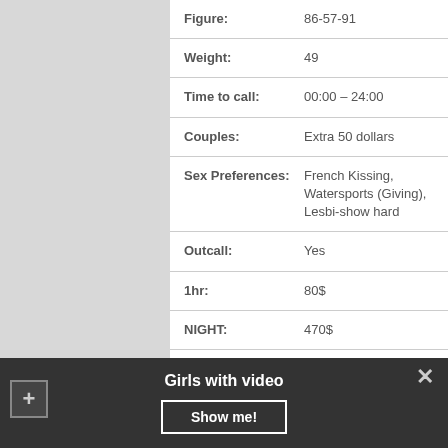| Field | Value |
| --- | --- |
| Figure: | 86-57-91 |
| Weight: | 49 |
| Time to call: | 00:00 – 24:00 |
| Couples: | Extra 50 dollars |
| Sex Preferences: | French Kissing, Watersports (Giving), Lesbi-show hard |
| Outcall: | Yes |
| 1hr: | 80$ |
| NIGHT: | 470$ |
| Nationality: | Italian |
+ VIDEO
Girls with video
Show me!